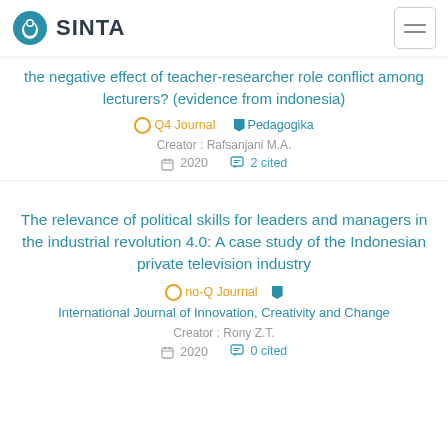SINTA
the negative effect of teacher-researcher role conflict among lecturers? (evidence from indonesia)
Q4 Journal   Pedagogika
Creator : Rafsanjani M.A.
2020   2 cited
The relevance of political skills for leaders and managers in the industrial revolution 4.0: A case study of the Indonesian private television industry
no-Q Journal   International Journal of Innovation, Creativity and Change
Creator : Rony Z.T.
2020   0 cited